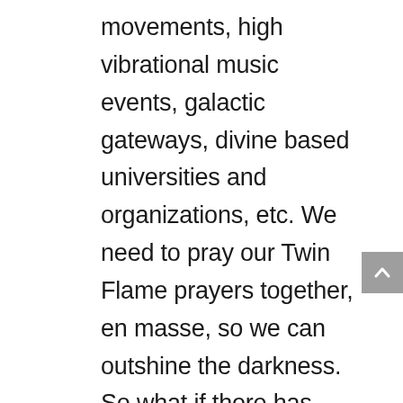movements, high vibrational music events, galactic gateways, divine based universities and organizations, etc. We need to pray our Twin Flame prayers together, en masse, so we can outshine the darkness. So what if there has been a lot of darkness? Yes, for sure there is in this moment still a lot of wrongdoing on earth (i.e. like Fukushima, don't make me go there or I'll talk your ear off), but 1% Light can totally obliterate 99% darkness. Like a tiny candle can illuminate an entire pitch black room to some degree. Still, we must band together and co-create with our consciousness, creating Light Portals of prayer, Twin Flame blessings, sacred action,